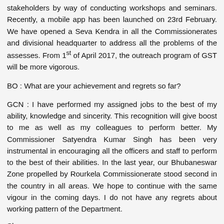stakeholders by way of conducting workshops and seminars. Recently, a mobile app has been launched on 23rd February. We have opened a Seva Kendra in all the Commissionerates and divisional headquarter to address all the problems of the assesses. From 1st of April 2017, the outreach program of GST will be more vigorous.
BO : What are your achievement and regrets so far?
GCN : I have performed my assigned jobs to the best of my ability, knowledge and sincerity. This recognition will give boost to me as well as my colleagues to perform better. My Commissioner Satyendra Kumar Singh has been very instrumental in encouraging all the officers and staff to perform to the best of their abilities. In the last year, our Bhubaneswar Zone propelled by Rourkela Commissionerate stood second in the country in all areas. We hope to continue with the same vigour in the coming days. I do not have any regrets about working pattern of the Department.
Share on: